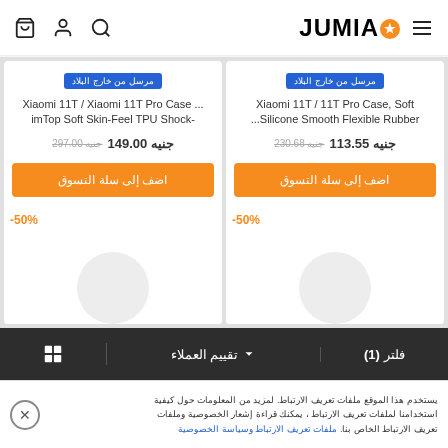JUMIA (cart, user, search icons)
Xiaomi 11T / Xiaomi 11T Pro Case ...imTop Soft Skin-Feel TPU Shock- | مرسل من خارج البلاد | جنيه 149.00 جنيه 297.00 | اضف إلى سلة التسوق | -50%
Xiaomi 11T / 11T Pro Case, Soft ...Silicone Smooth Flexible Rubber | مرسل من خارج البلاد | جنيه 113.55 جنيه 230.68 | اضف إلى سلة التسوق | -50%
فلتر (1) | تقييم العملاء ∨ | grid icon
يستخدم هذا الموقع ملفات تعريف الارتباط. لمزيد من المعلومات حول كيفية استخدامنا لملفات تعريف الارتباط ، يمكنك قراءة إشعار الخصوصية وملفات تعريف الارتباط الخاص بنا. ملفات تعريف الارتباط وسياسة الخصوصية